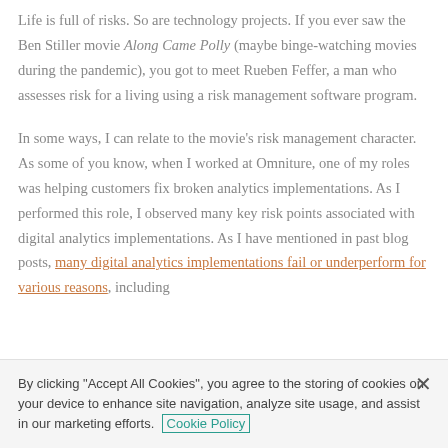Life is full of risks. So are technology projects. If you ever saw the Ben Stiller movie Along Came Polly (maybe binge-watching movies during the pandemic), you got to meet Rueben Feffer, a man who assesses risk for a living using a risk management software program.
In some ways, I can relate to the movie's risk management character. As some of you know, when I worked at Omniture, one of my roles was helping customers fix broken analytics implementations. As I performed this role, I observed many key risk points associated with digital analytics implementations. As I have mentioned in past blog posts, many digital analytics implementations fail or underperform for various reasons, including
By clicking "Accept All Cookies", you agree to the storing of cookies on your device to enhance site navigation, analyze site usage, and assist in our marketing efforts. Cookie Policy